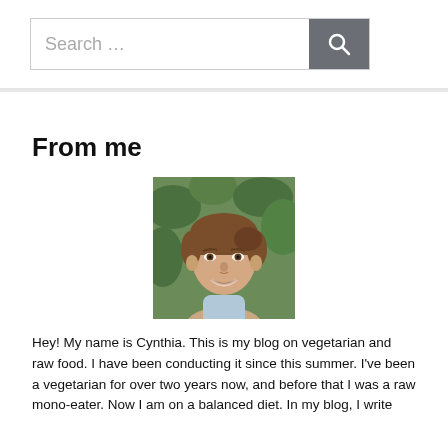[Figure (screenshot): Search bar with text input field reading 'Search …' and a dark grey search button with magnifying glass icon]
From me
[Figure (photo): Headshot photo of a smiling young woman with brown hair, wearing a light blue top, with green foliage in the background]
Hey! My name is Cynthia. This is my blog on vegetarian and raw food. I have been conducting it since this summer. I've been a vegetarian for over two years now, and before that I was a raw mono-eater. Now I am on a balanced diet. In my blog, I write